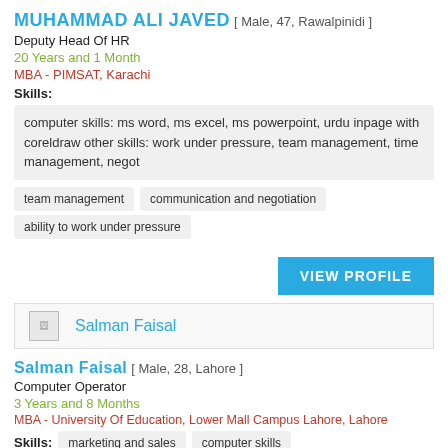MUHAMMAD ALI JAVED [ Male, 47, Rawalpinidi ]
Deputy Head Of HR
20 Years and 1 Month
MBA - PIMSAT, Karachi
Skills:
computer skills: ms word, ms excel, ms powerpoint, urdu inpage with coreldraw other skills: work under pressure, team management, time management, negot
team management
communication and negotiation
ability to work under pressure
VIEW PROFILE
[Figure (other): Profile image banner for Salman Faisal]
Salman Faisal [ Male, 28, Lahore ]
Computer Operator
3 Years and 8 Months
MBA - University Of Education, Lower Mall Campus Lahore, Lahore
Skills:
marketing and sales
computer skills
knowledge of computer
ms word